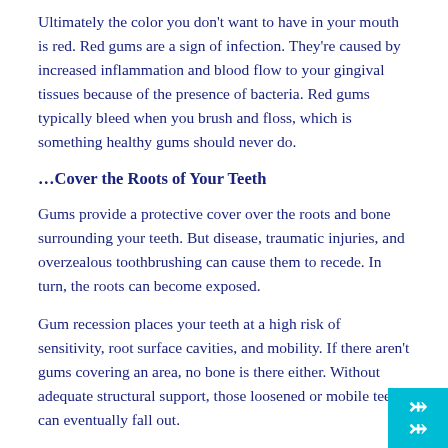Ultimately the color you don't want to have in your mouth is red. Red gums are a sign of infection. They're caused by increased inflammation and blood flow to your gingival tissues because of the presence of bacteria. Red gums typically bleed when you brush and floss, which is something healthy gums should never do.
…Cover the Roots of Your Teeth
Gums provide a protective cover over the roots and bone surrounding your teeth. But disease, traumatic injuries, and overzealous toothbrushing can cause them to recede. In turn, the roots can become exposed.
Gum recession places your teeth at a high risk of sensitivity, root surface cavities, and mobility. If there aren't gums covering an area, no bone is there either. Without adequate structural support, those loosened or mobile teeth can eventually fall out.
…Be Free of Inflammation
[Figure (other): Teal/cyan square button with double upward chevron arrow in white, positioned at bottom-right corner of page]